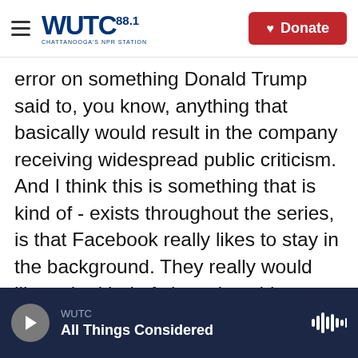WUTC 88.1 Chattanooga's NPR Station | Donate
error on something Donald Trump said to, you know, anything that basically would result in the company receiving widespread public criticism. And I think this is something that is kind of - exists throughout the series, is that Facebook really likes to stay in the background. They really would like to be kind of viewed as this neutral platform in which just kind of life plays out online. And as you know, what our reporting tends to show is that that is not the case. The company is actively making a lot of choices, is determining which interests benefit and at what expense. And I think XCheck is kind of a perfect example of that, which is that the whole
WUTC | All Things Considered